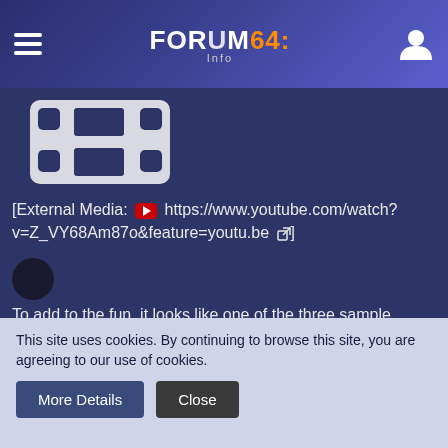FORUM64: Info
[Figure (screenshot): Film reel thumbnail icon on dark blue background]
[External Media: https://www.youtube.com/watch?v=Z_VY68Am87o&feature=youtu.be]
To add to the fun, it looks like one of the three sample boards has a fault with the IEC port circuitry.
We have of course organised to send one of the boards here, but with COVID19, its really hard to predict when the board will make it here to Australia. Then when it does arrive in Australia, it has to get to where I live at the moment. Normally I live in a large city, but not this year. This year for various reasons I am ng in the middle of the Australian Outback. While this has a
This site uses cookies. By continuing to browse this site, you are agreeing to our use of cookies.